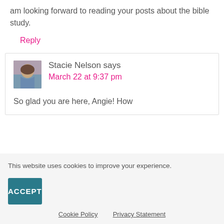am looking forward to reading your posts about the bible study.
Reply
Stacie Nelson says
March 22 at 9:37 pm
[Figure (photo): Avatar photo of Stacie Nelson, a woman with brown hair]
So glad you are here, Angie! How
This website uses cookies to improve your experience.
ACCEPT
Cookie Policy
Privacy Statement